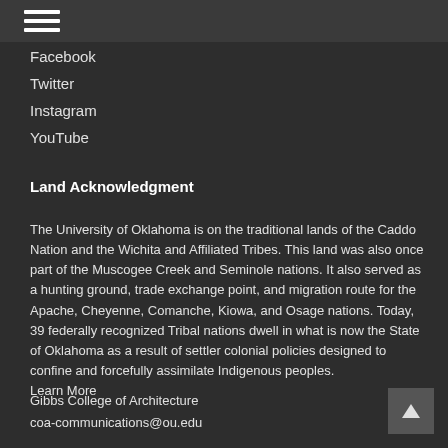≡ (hamburger menu)
Facebook
Twitter
Instagram
YouTube
Land Acknowledgment
The University of Oklahoma is on the traditional lands of the Caddo Nation and the Wichita and Affiliated Tribes. This land was also once part of the Muscogee Creek and Seminole nations. It also served as a hunting ground, trade exchange point, and migration route for the Apache, Cheyenne, Comanche, Kiowa, and Osage nations. Today, 39 federally recognized Tribal nations dwell in what is now the State of Oklahoma as a result of settler colonial policies designed to confine and forcefully assimilate Indigenous peoples.
Learn More
Gibbs College of Architecture
coa-communications@ou.edu